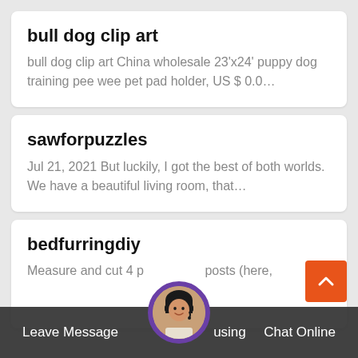bull dog clip art
bull dog clip art China wholesale 23'x24' puppy dog training pee wee pet pad holder, US $ 0.0…
sawforpuzzles
Jul 21, 2021 But luckily, I got the best of both worlds. We have a beautiful living room, that…
bedfurringdiy
Measure and cut 4 p… posts (here,
[Figure (photo): Customer service avatar - woman with headset]
Leave Message   Chat Online